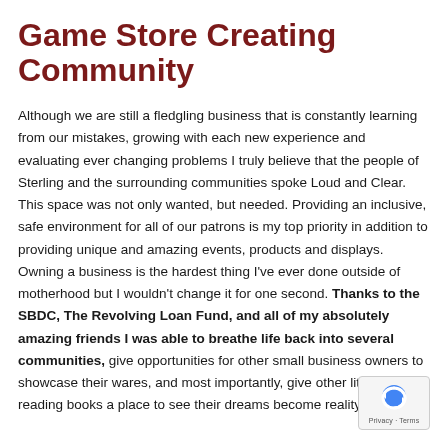Game Store Creating Community
Although we are still a fledgling business that is constantly learning from our mistakes, growing with each new experience and evaluating ever changing problems I truly believe that the people of Sterling and the surrounding communities spoke Loud and Clear. This space was not only wanted, but needed. Providing an inclusive, safe environment for all of our patrons is my top priority in addition to providing unique and amazing events, products and displays. Owning a business is the hardest thing I've ever done outside of motherhood but I wouldn't change it for one second. Thanks to the SBDC, The Revolving Loan Fund, and all of my absolutely amazing friends I was able to breathe life back into several communities, give opportunities for other small business owners to showcase their wares, and most importantly, give other little girls reading books a place to see their dreams become reality.
[Figure (logo): reCAPTCHA privacy badge with blue circular arrow icon and Privacy · Terms text]